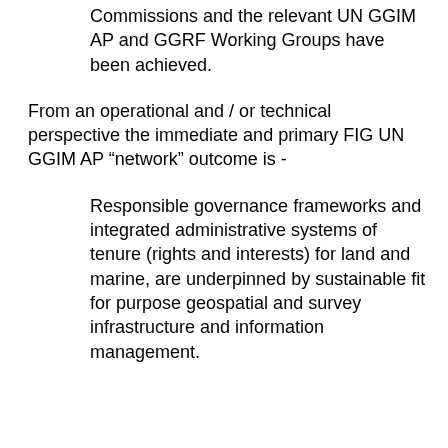Commissions and the relevant UN GGIM AP and GGRF Working Groups have been achieved.
From an operational and / or technical perspective the immediate and primary FIG UN GGIM AP “network” outcome is -
Responsible governance frameworks and integrated administrative systems of tenure (rights and interests) for land and marine, are underpinned by sustainable fit for purpose geospatial and survey infrastructure and information management.